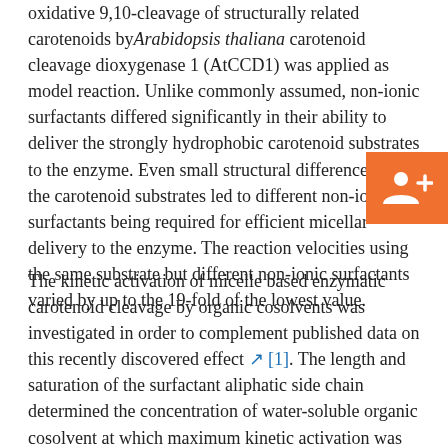oxidative 9,10-cleavage of structurally related carotenoids by Arabidopsis thaliana carotenoid cleavage dioxygenase 1 (AtCCD1) was applied as model reaction. Unlike commonly assumed, non-ionic surfactants differed significantly in their ability to deliver the strongly hydrophobic carotenoid substrates to the enzyme. Even small structural differences in the carotenoid substrates led to different non-ionic surfactants being required for efficient micellar delivery to the enzyme. The reaction velocities using the same substrate but different non-ionic surfactants varied by up to the 19-fold of the lowest value.
[Figure (other): Orange button with white add-group/follow icon (person with plus sign)]
The kinetic activation of micelle based enzymatic carotenoid cleavage by organic cosolvents was investigated in order to complement published data on this recently discovered effect [1]. The length and saturation of the surfactant aliphatic side chain determined the concentration of water-soluble organic cosolvent at which maximum kinetic activation was achieved. The required cosolvent concentrations were between 6 and 15% (v/v) and led to up to 3.8-fold increased reaction velocities. For specific combinations of enzymes and non-ionic surfactants, kinetic lag phases were observed. Factors of influence on